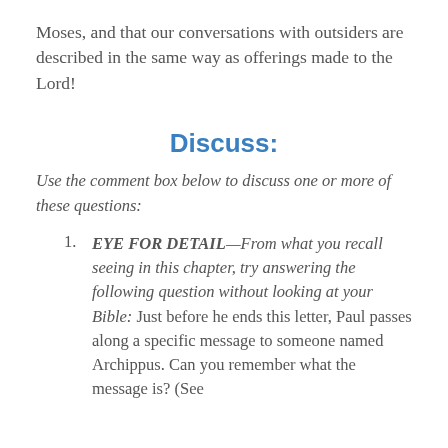Moses, and that our conversations with outsiders are described in the same way as offerings made to the Lord!
Discuss:
Use the comment box below to discuss one or more of these questions:
EYE FOR DETAIL—From what you recall seeing in this chapter, try answering the following question without looking at your Bible: Just before he ends this letter, Paul passes along a specific message to someone named Archippus. Can you remember what the message is? (See